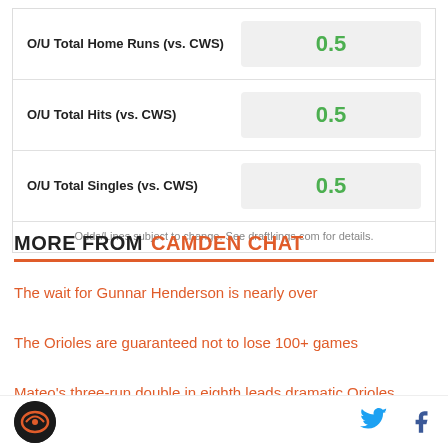| Bet | Value |
| --- | --- |
| O/U Total Home Runs (vs. CWS) | 0.5 |
| O/U Total Hits (vs. CWS) | 0.5 |
| O/U Total Singles (vs. CWS) | 0.5 |
Odds/Lines subject to change. See draftkings.com for details.
MORE FROM CAMDEN CHAT
The wait for Gunnar Henderson is nearly over
The Orioles are guaranteed not to lose 100+ games
Mateo's three-run double in eighth leads dramatic Orioles